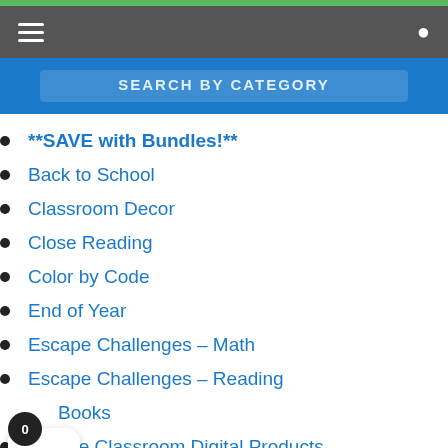SEARCH BY CATEGORY
**SAVE with Bundles!**
Back to School
Classroom Decor
Close Reading
Color by Code
End of Year
Escape Challenges - Math
Escape Challenges - Reading
Books
Google Classroom Digital Products